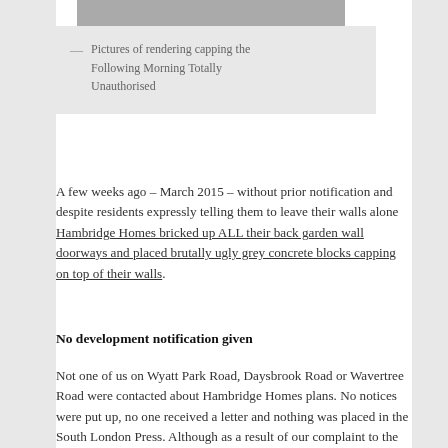[Figure (photo): Partial photo of rendering/capping visible at top of page]
— Pictures of rendering capping the Following Morning Totally Unauthorised
A few weeks ago – March 2015 – without prior notification and despite residents expressly telling them to leave their walls alone Hambridge Homes bricked up ALL their back garden wall doorways and placed brutally ugly grey concrete blocks capping on top of their walls.
No development notification given
Not one of us on Wyatt Park Road, Daysbrook Road or Wavertree Road were contacted about Hambridge Homes plans. No notices were put up, no one received a letter and nothing was placed in the South London Press. Although as a result of our complaint to the Local Government Ombudsman some 'shady' photos magically